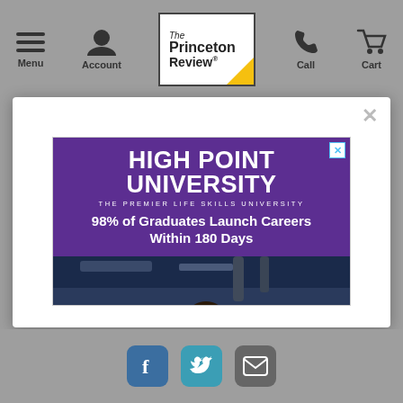Menu | Account | The Princeton Review | Call | Cart
[Figure (screenshot): The Princeton Review website navigation bar with Menu, Account, logo, Call, and Cart icons]
[Figure (advertisement): High Point University ad: HIGH POINT UNIVERSITY - THE PREMIER LIFE SKILLS UNIVERSITY. 98% of Graduates Launch Careers Within 180 Days. Photo of students in purple lab coats working with scientific equipment.]
Facebook | Twitter | Email social icons